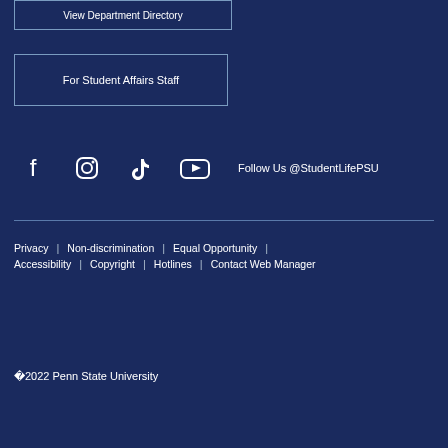View Department Directory
For Student Affairs Staff
[Figure (other): Social media icons: Facebook, Instagram, TikTok, YouTube with text 'Follow Us @StudentLifePSU']
Privacy | Non-discrimination | Equal Opportunity | Accessibility | Copyright | Hotlines | Contact Web Manager
©2022 Penn State University